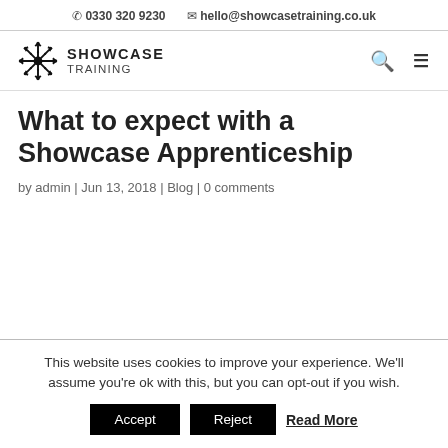☎ 0330 320 9230   ✉ hello@showcasetraining.co.uk
[Figure (logo): Showcase Training logo with starburst icon and text SHOWCASE TRAINING]
What to expect with a Showcase Apprenticeship
by admin | Jun 13, 2018 | Blog | 0 comments
This website uses cookies to improve your experience. We'll assume you're ok with this, but you can opt-out if you wish.